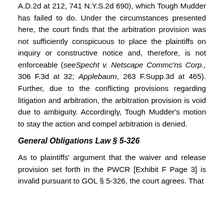Scheda Inc. Co. v. Cedars — Southwest Brokerage, 291 A.D.2d at 212, 741 N.Y.S.2d 690), which Tough Mudder has failed to do. Under the circumstances presented here, the court finds that the arbitration provision was not sufficiently conspicuous to place the plaintiffs on inquiry or constructive notice and, therefore, is not enforceable (see Specht v. Netscape Commc'ns Corp., 306 F.3d at 32; Applebaum, 263 F.Supp.3d at 465). Further, due to the conflicting provisions regarding litigation and arbitration, the arbitration provision is void due to ambiguity. Accordingly, Tough Mudder's motion to stay the action and compel arbitration is denied.
General Obligations Law § 5-326
As to plaintiffs' argument that the waiver and release provision set forth in the PWCR [Exhibit F Page 3] is invalid pursuant to GOL § 5-326, the court agrees. That